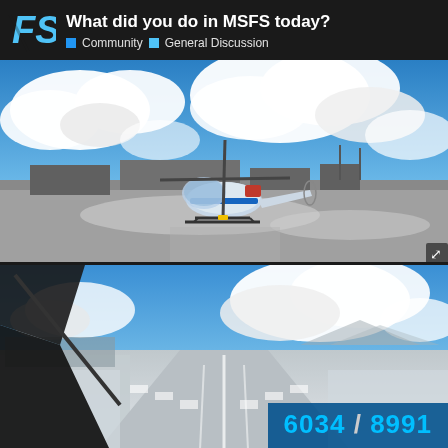What did you do in MSFS today? Community > General Discussion
[Figure (screenshot): MSFS screenshot: Blue and white helicopter (H135/EC135) parked on snow-dusted airport tarmac with cloudy blue sky and airport terminal buildings in background]
[Figure (screenshot): MSFS screenshot: Cockpit view of aircraft on snowy runway, wide-angle view showing runway markings and snow-covered terrain with mountains and city in distance]
6034 / 8991